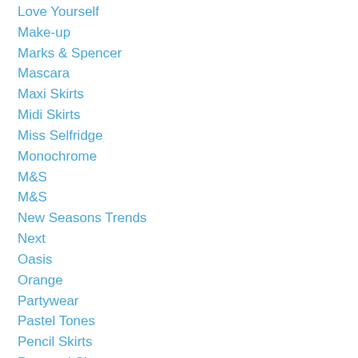Love Yourself
Make-up
Marks & Spencer
Mascara
Maxi Skirts
Midi Skirts
Miss Selfridge
Monochrome
M&S
M&S
New Seasons Trends
Next
Oasis
Orange
Partywear
Pastel Tones
Pencil Skirts
Personal Shopper
Personal Stylist
Positive Body Focus
Positive Body Image